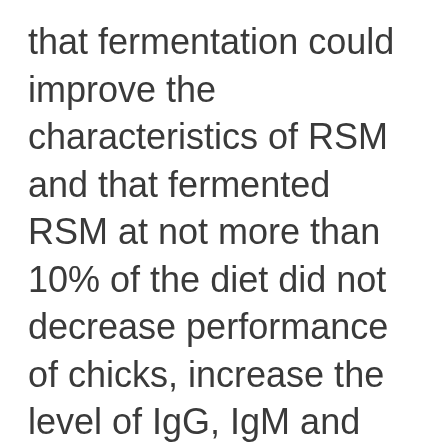that fermentation could improve the characteristics of RSM and that fermented RSM at not more than 10% of the diet did not decrease performance of chicks, increase the level of IgG, IgM and total P and Ca content and decreased the UN content in serum. Furthermore, intestinal